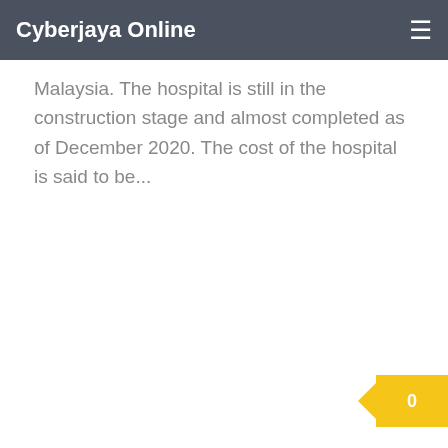Cyberjaya Online
Malaysia. The hospital is still in the construction stage and almost completed as of December 2020. The cost of the hospital is said to be...